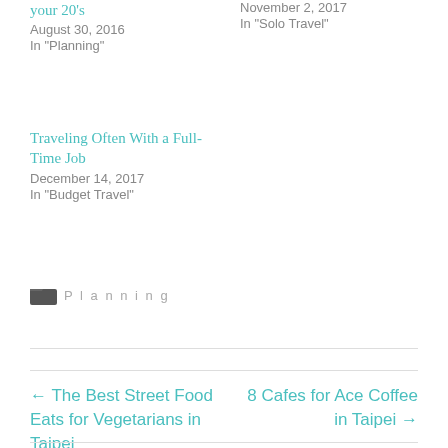your 20's
August 30, 2016
In "Planning"
November 2, 2017
In "Solo Travel"
Traveling Often With a Full-Time Job
December 14, 2017
In "Budget Travel"
Planning
← The Best Street Food Eats for Vegetarians in Taipei
8 Cafes for Ace Coffee in Taipei →